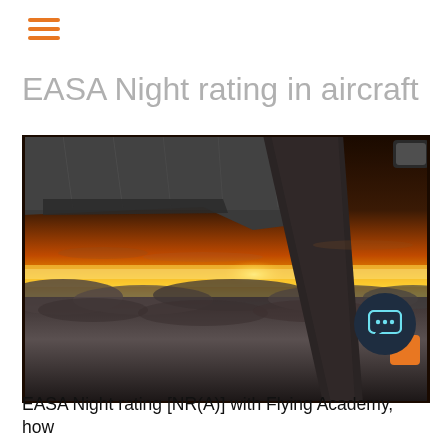EASA Night rating in aircraft
[Figure (photo): Aerial photograph taken from inside a small aircraft, showing the wing and strut in the foreground against a dramatic sunset sky with orange and yellow hues over a sea of clouds below.]
EASA Night rating [NR(A)] with Flying Academy, how